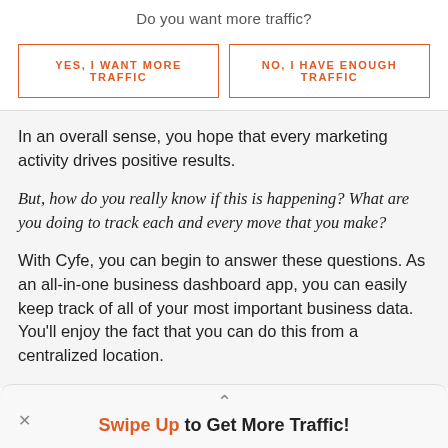Do you want more traffic?
YES, I WANT MORE TRAFFIC
NO, I HAVE ENOUGH TRAFFIC
In an overall sense, you hope that every marketing activity drives positive results.
But, how do you really know if this is happening? What are you doing to track each and every move that you make?
With Cyfe, you can begin to answer these questions. As an all-in-one business dashboard app, you can easily keep track of all of your most important business data. You'll enjoy the fact that you can do this from a centralized location.
Swipe Up to Get More Traffic!